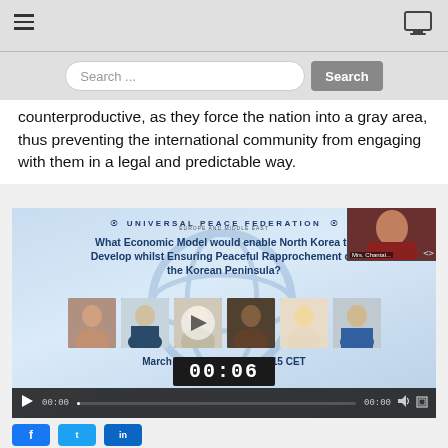Navigation bar with hamburger menu and monitor icon
counterproductive, as they force the nation into a gray area, thus preventing the international community from engaging with them in a legal and predictable way.
[Figure (screenshot): Video embed from Universal Peace Federation showing a webinar titled 'What Economic Model would enable North Korea to Develop whilst Ensuring Peaceful Rapprochement on the Korean Peninsula?' dated March 5th, 2021, 15:00 - 16:15 CET, with speaker thumbnails and a timecode showing 00:06]